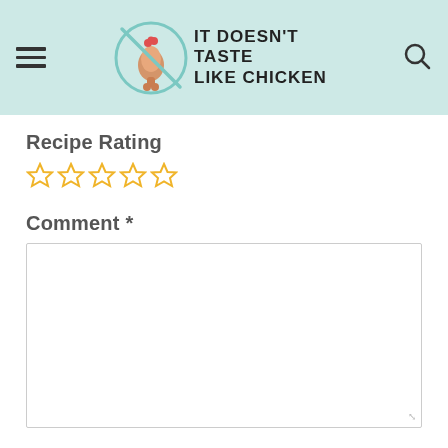IT DOESN'T TASTE LIKE CHICKEN
Recipe Rating
[Figure (other): Five empty star rating icons in gold/yellow color]
Comment *
[Figure (other): Empty comment text area input box]